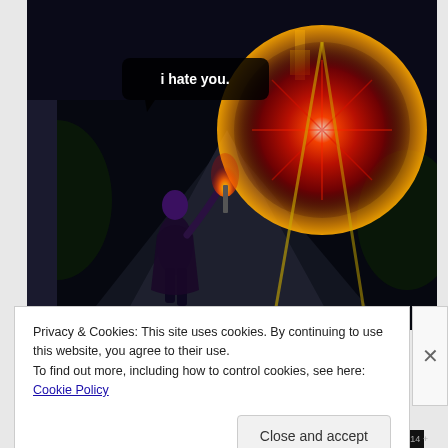[Figure (screenshot): A World of Warcraft (or similar fantasy MMO) game screenshot showing a character wielding a flaming weapon facing a large glowing red orb/portal. A speech bubble reads 'i hate you.' The scene is dark with stone path background.]
Privacy & Cookies: This site uses cookies. By continuing to use this website, you agree to their use.
To find out more, including how to control cookies, see here: Cookie Policy
Close and accept